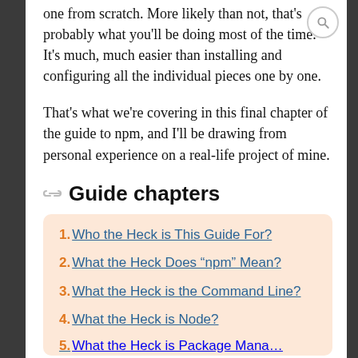one from scratch. More likely than not, that’s probably what you’ll be doing most of the time. It’s much, much easier than installing and configuring all the individual pieces one by one.
That’s what we’re covering in this final chapter of the guide to npm, and I’ll be drawing from personal experience on a real-life project of mine.
Guide chapters
1. Who the Heck is This Guide For?
2. What the Heck Does “npm” Mean?
3. What the Heck is the Command Line?
4. What the Heck is Node?
5. What the Heck is Package Mana…